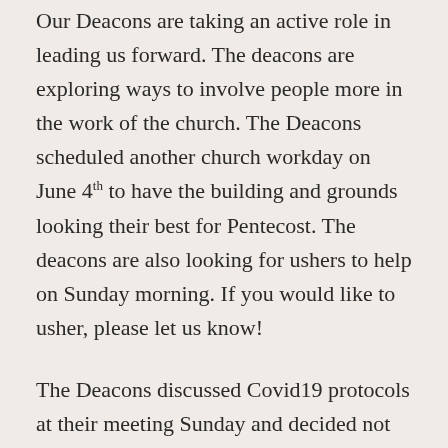Our Deacons are taking an active role in leading us forward. The deacons are exploring ways to involve people more in the work of the church. The Deacons scheduled another church workday on June 4th to have the building and grounds looking their best for Pentecost. The deacons are also looking for ushers to help on Sunday morning. If you would like to usher, please let us know!
The Deacons discussed Covid19 protocols at their meeting Sunday and decided not to make any changes at this time. Case numbers for Covid19 are on the rise in our area so this decision makes a lot of sense. That means masks are still required during